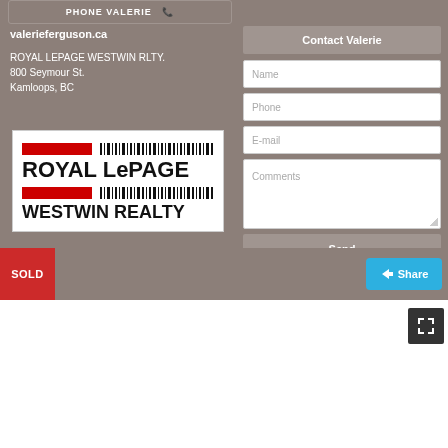PHONE VALERIE
valerieferguson.ca
ROYAL LEPAGE WESTWIN RLTY.
800 Seymour St.
Kamloops, BC
[Figure (logo): Royal LePage Westwin Realty logo with red horizontal bars and barcode-style pattern, black bold text ROYAL LePAGE WESTWIN REALTY]
Contact Valerie
Name
Phone
E-mail
Comments
Send
SOLD
Share